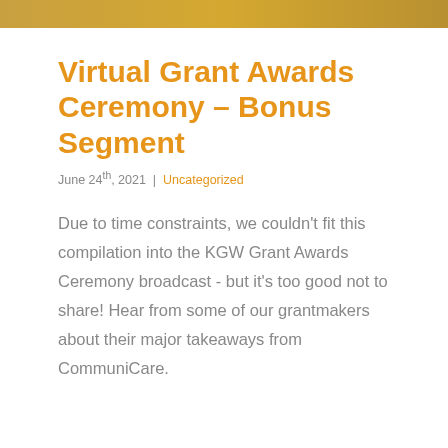[Figure (photo): Partial image visible at the top of the page, showing a warm golden/orange toned banner image.]
Virtual Grant Awards Ceremony – Bonus Segment
June 24th, 2021  |  Uncategorized
Due to time constraints, we couldn't fit this compilation into the KGW Grant Awards Ceremony broadcast - but it's too good not to share! Hear from some of our grantmakers about their major takeaways from CommuniCare.